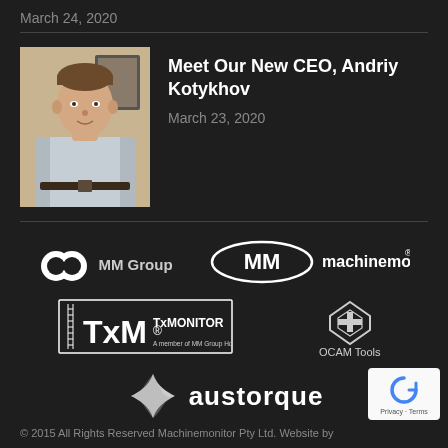March 24, 2020
[Figure (photo): Photo of Andriy Kotykhov, new CEO]
Meet Our New CEO, Andriy Kotykhov
March 23, 2020
[Figure (logo): MM Group logo]
[Figure (logo): machinemonitor logo]
[Figure (logo): TxMONITOR - A member of MM Group Holdings logo]
[Figure (logo): OCAM Tools logo]
[Figure (logo): austorque logo]
© 2015 All Rights Reserved Machinemonitor Pty Ltd. Website by